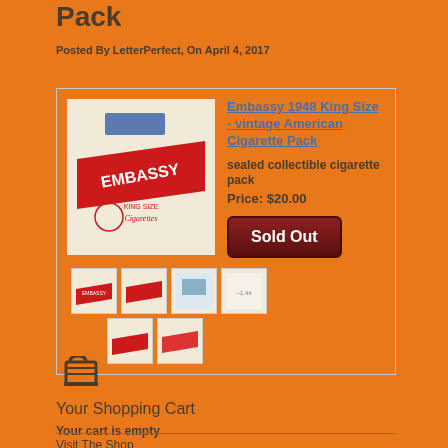Pack
Posted By LetterPerfect, On April 4, 2017
[Figure (photo): Product listing for Embassy 1948 King Size vintage American Cigarette Pack. Shows main product photo of cream-colored cigarette pack with red diagonal 'EMBASSY' band and 'King Size Cigarettes' text. Six thumbnail images below showing different angles. Sold Out button. Price $20.00.]
Your Shopping Cart
Your cart is empty
Visit The Shop